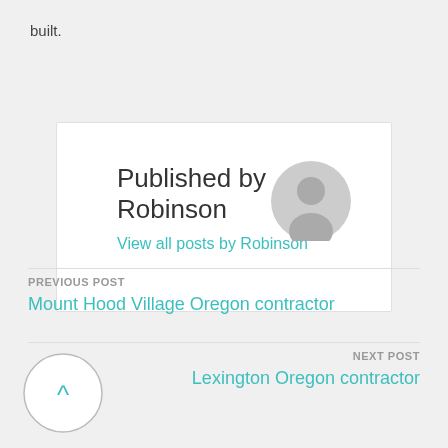built.
Published by Robinson
View all posts by Robinson
PREVIOUS POST
Mount Hood Village Oregon contractor
NEXT POST
Lexington Oregon contractor
[Figure (illustration): Back to top button: circular button with upward caret arrow in teal color]